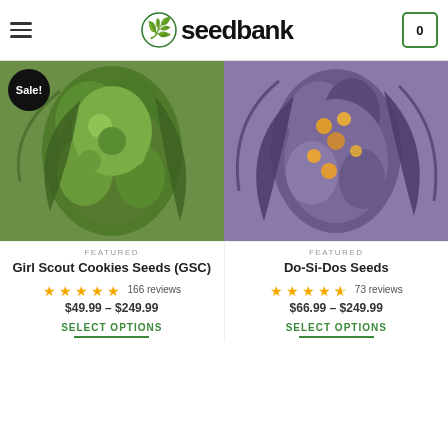seedbank
[Figure (photo): Close-up photo of green cannabis bud (Girl Scout Cookies) with Sale! badge overlay]
[Figure (photo): Close-up photo of purple/orange cannabis bud (Do-Si-Dos Seeds)]
FEATURED
Girl Scout Cookies Seeds (GSC)
★★★★★ 166 reviews
$49.99 – $249.99
FEATURED
Do-Si-Dos Seeds
★★★★½ 73 reviews
$66.99 – $249.99
SELECT OPTIONS
SELECT OPTIONS